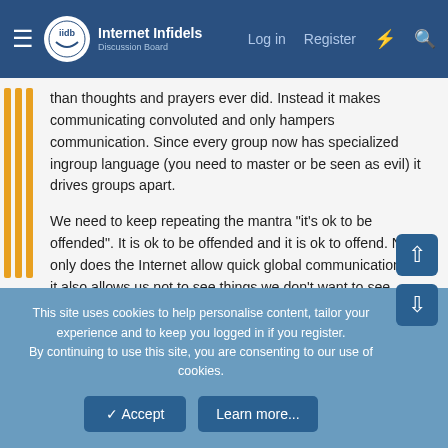Internet Infidels — Log in  Register
than thoughts and prayers ever did. Instead it makes communicating convoluted and only hampers communication. Since every group now has specialized ingroup language (you need to master or be seen as evil) it drives groups apart.
We need to keep repeating the mantra "it's ok to be offended". It is ok to be offended and it is ok to offend. Not only does the Internet allow quick global communication. But it also allows us not to see things we don't want to see. Nobody needs to see anything they don't want to.
Researchers love counting keywords because it's quantifiable. But what does it prove? A computer scientist friend of mine was on a research project financed by the Swedish government to track homophobia through
This site uses cookies to help personalise content, tailor your experience and to keep you logged in if you register.
By continuing to use this site, you are consenting to our use of cookies.